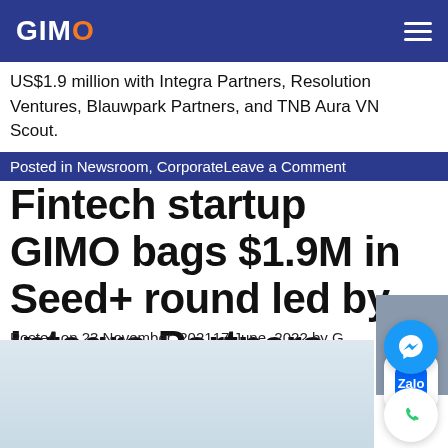GIMO
US$1.9 million with Integra Partners, Resolution Ventures, Blauwpark Partners, and TNB Aura VN Scout.
Posted in Newsroom, CorporateLeave a Comment
Fintech startup GIMO bags $1.9M in Seed+ round led by Integra Partners
Posted on 23 November, 202117 June, 2022 by GIMO TEAM